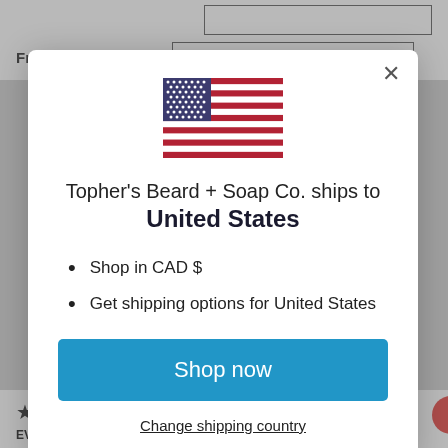Fragrance Choice #2
[Figure (screenshot): Modal dialog with US flag showing 'Topher's Beard + Soap Co. ships to United States' with shop now button and change shipping country link]
Topher's Beard + Soap Co. ships to
United States
Shop in CAD $
Get shipping options for United States
Shop now
Change shipping country
EVERYONE IS TRYING TO STEAL MY SPRAY!